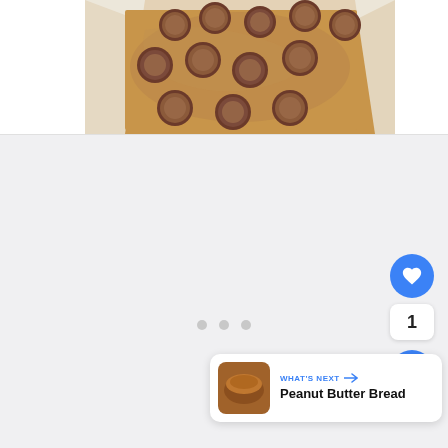[Figure (photo): Close-up photo of peanut butter bars/blondies topped with Reese's peanut butter cups, arranged in a baking pan lined with parchment paper.]
[Figure (screenshot): Web page UI elements: three pagination dots, a blue heart/like button, a count bubble showing '1', a blue share button, and a 'WHAT'S NEXT' card showing a thumbnail of peanut butter bread with the title 'Peanut Butter Bread'.]